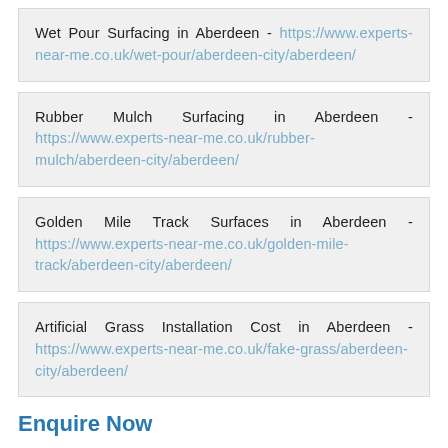Wet Pour Surfacing in Aberdeen - https://www.experts-near-me.co.uk/wet-pour/aberdeen-city/aberdeen/
Rubber Mulch Surfacing in Aberdeen - https://www.experts-near-me.co.uk/rubber-mulch/aberdeen-city/aberdeen/
Golden Mile Track Surfaces in Aberdeen - https://www.experts-near-me.co.uk/golden-mile-track/aberdeen-city/aberdeen/
Artificial Grass Installation Cost in Aberdeen - https://www.experts-near-me.co.uk/fake-grass/aberdeen-city/aberdeen/
Enquire Now
If you wish to have resin bound gravel in Aberdeen AB15 5 installed, make sure you enquire now.
Simply fill in the contact form presented on this page and we will